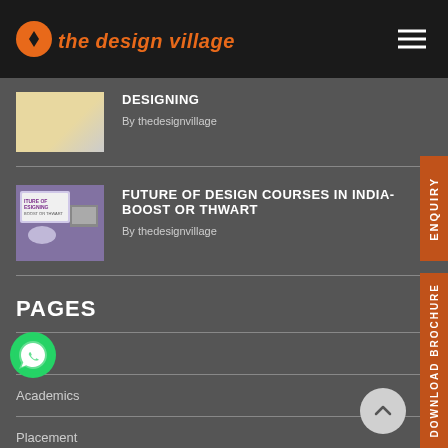[Figure (logo): The Design Village logo with orange circle and diamond icon, orange italic text 'the design village']
DESIGNING
By thedesignvillage
[Figure (photo): Thumbnail image with text 'FUTURE OF DESIGN COURSES IN INDIA- BOOST OR THWART' on purple/dark background with laptop]
FUTURE OF DESIGN COURSES IN INDIA- BOOST OR THWART
By thedesignvillage
PAGES
Apply
Academics
Placement